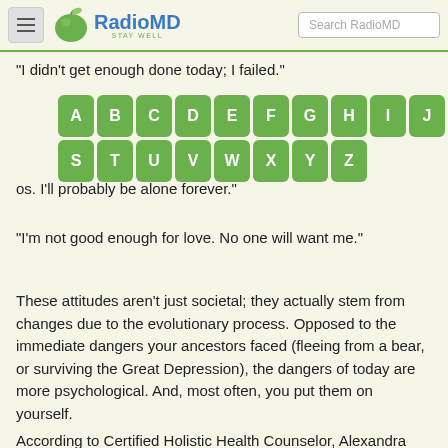[Figure (logo): RadioMD logo with apple icon and 'STAY WELL' tagline, plus menu hamburger button and search box]
"I didn't get enough done today; I failed."
[Figure (other): Green alphabet keyboard overlay showing letters A-Z in two rows]
...os. I'll probably be alone forever."
"I'm not good enough for love. No one will want me."
These attitudes aren't just societal; they actually stem from changes due to the evolutionary process. Opposed to the immediate dangers your ancestors faced (fleeing from a bear, or surviving the Great Depression), the dangers of today are more psychological. And, most often, you put them on yourself.
According to Certified Holistic Health Counselor, Alexandra Jamieson, those types of thoughts and negative self-talk work worst against you when it comes